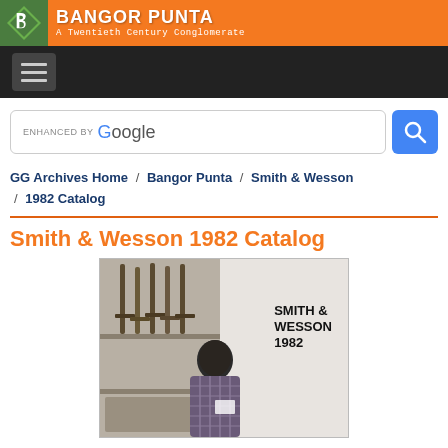BANGOR PUNTA — A Twentieth Century Conglomerate
GG Archives Home / Bangor Punta / Smith & Wesson / 1982 Catalog
Smith & Wesson 1982 Catalog
[Figure (photo): Cover of the Smith & Wesson 1982 Catalog showing rifles on a shelf display and a person in a plaid shirt, with bold text reading SMITH & WESSON 1982]